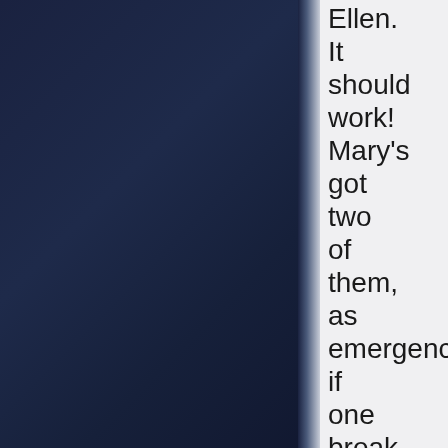Ellen. It should work! Mary's got two of them, as emergency, if one break down, she can